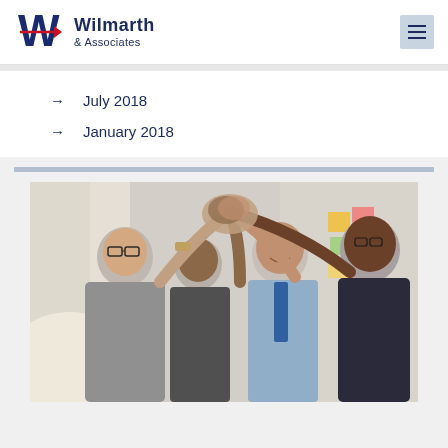Wilmarth & Associates
July 2018
January 2018
[Figure (photo): Group of business professionals doing a high-five celebration in an office setting]